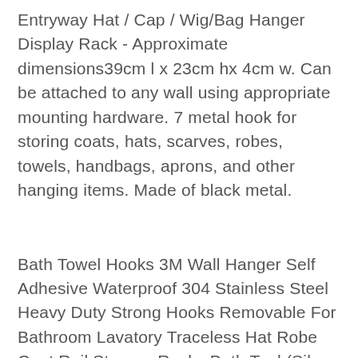Entryway Hat / Cap / Wig/Bag Hanger Display Rack - Approximate dimensions39cm l x 23cm hx 4cm w. Can be attached to any wall using appropriate mounting hardware. 7 metal hook for storing coats, hats, scarves, robes, towels, handbags, aprons, and other hanging items. Made of black metal.
Bath Towel Hooks 3M Wall Hanger Self Adhesive Waterproof 304 Stainless Steel Heavy Duty Strong Hooks Removable For Bathroom Lavatory Traceless Hat Robe Coat Rail Storage Racks Bath Tool (Silver B)Bath Towel Hooks 3M Wall Hanger Self Adhesive Waterproof 304 Stainless Steel Heavy Duty Strong Hooks Removable For Bathroom